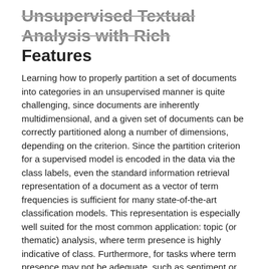Unsupervised Textual Analysis with Rich Features
Learning how to properly partition a set of documents into categories in an unsupervised manner is quite challenging, since documents are inherently multidimensional, and a given set of documents can be correctly partitioned along a number of dimensions, depending on the criterion. Since the partition criterion for a supervised model is encoded in the data via the class labels, even the standard information retrieval representation of a document as a vector of term frequencies is sufficient for many state-of-the-art classification models. This representation is especially well suited for the most common application: topic (or thematic) analysis, where term presence is highly indicative of class. Furthermore, for tasks where term presence may not be adequate, such as sentiment or perspective analysis, discriminative models have the ability to incorporate complex features, allowing them to generalize and adapt